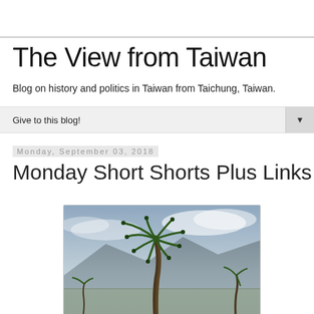The View from Taiwan
Blog on history and politics in Taiwan from Taichung, Taiwan.
Give to this blog!
Monday, September 03, 2018
Monday Short Shorts Plus Links
[Figure (photo): A palm tree against a cloudy sky with mountains in the background]